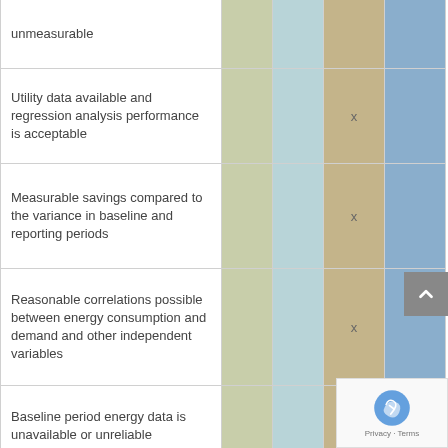| Condition/Criterion | Col1 | Col2 | Col3 | Col4 |
| --- | --- | --- | --- | --- |
| unmeasurable |  |  |  |  |
| Utility data available and regression analysis performance is acceptable |  |  | x |  |
| Measurable savings compared to the variance in baseline and reporting periods |  |  | x |  |
| Reasonable correlations possible between energy consumption and demand and other independent variables |  |  | x |  |
| Baseline period energy data is unavailable or unreliable |  |  |  | x |
| Computer simulation skill is available |  |  |  | x |